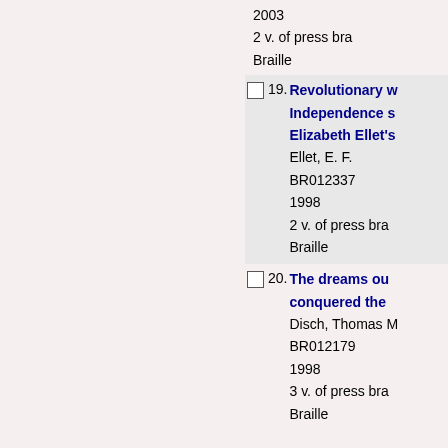2003
2 v. of press braille
Braille
19. Revolutionary w... Independence s... Elizabeth Ellet's
Ellet, E. F.
BR012337
1998
2 v. of press braille
Braille
20. The dreams ou... conquered the...
Disch, Thomas M.
BR012179
1998
3 v. of press braille
Braille
Select All  Clear All  Add Se...